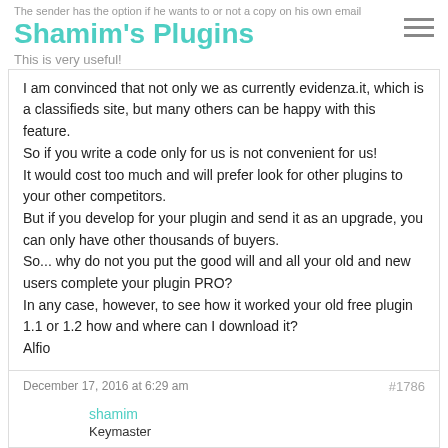The sender has the option if he wants to or not a copy on his own email
Shamim's Plugins
This is very useful!
I am convinced that not only we as currently evidenza.it, which is a classifieds site, but many others can be happy with this feature.
So if you write a code only for us is not convenient for us!
It would cost too much and will prefer look for other plugins to your other competitors.
But if you develop for your plugin and send it as an upgrade, you can only have other thousands of buyers.
So... why do not you put the good will and all your old and new users complete your plugin PRO?
In any case, however, to see how it worked your old free plugin 1.1 or 1.2 how and where can I download it?
Alfio
December 17, 2016 at 6:29 am
#1786
shamim
Keymaster